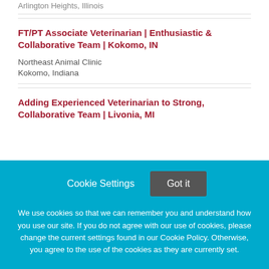Arlington Heights, Illinois
FT/PT Associate Veterinarian | Enthusiastic & Collaborative Team | Kokomo, IN
Northeast Animal Clinic
Kokomo, Indiana
Adding Experienced Veterinarian to Strong, Collaborative Team | Livonia, MI
Cookie Settings
Got it
We use cookies so that we can remember you and understand how you use our site. If you do not agree with our use of cookies, please change the current settings found in our Cookie Policy. Otherwise, you agree to the use of the cookies as they are currently set.